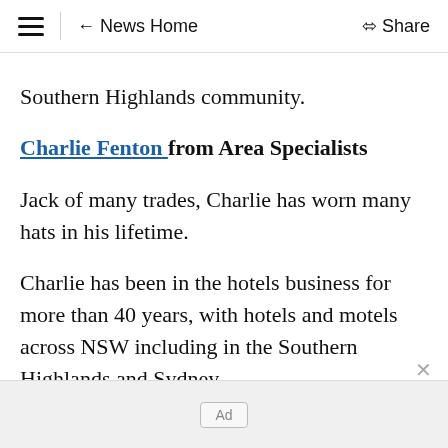≡  ← News Home   Share
Southern Highlands community.
Charlie Fenton from Area Specialists
Jack of many trades, Charlie has worn many hats in his lifetime.
Charlie has been in the hotels business for more than 40 years, with hotels and motels across NSW including in the Southern Highlands and Sydney.
Ad